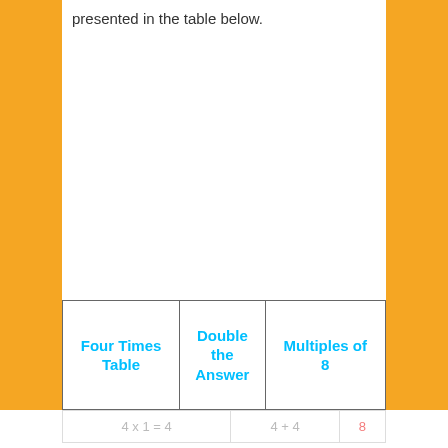presented in the table below.
| Four Times Table | Double the Answer | Multiples of 8 |
| --- | --- | --- |
| 4 x 1 = 4 | 4 + 4 | 8 |